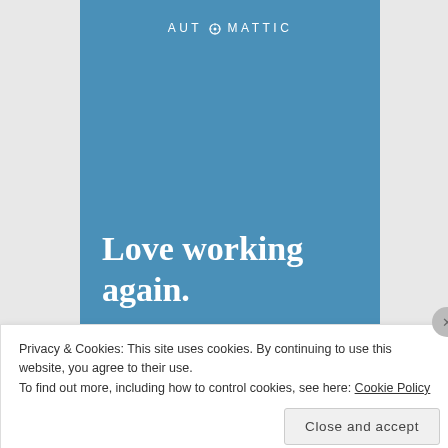[Figure (screenshot): Automattic website screenshot showing blue card with logo at top, tagline 'Love working again.' in white serif font, and an Apply button below]
Love working again.
Apply
Privacy & Cookies: This site uses cookies. By continuing to use this website, you agree to their use.
To find out more, including how to control cookies, see here: Cookie Policy
Close and accept